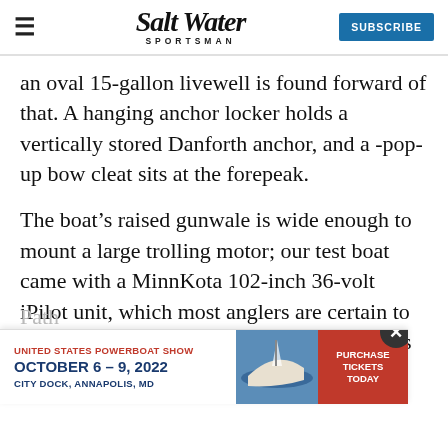Salt Water Sportsman | SUBSCRIBE
an oval 15-gallon livewell is found forward of that. A hanging anchor locker holds a vertically stored Danforth anchor, and a pop-up bow cleat sits at the forepeak.
The boat’s raised gunwale is wide enough to mount a large trolling motor; our test boat came with a MinnKota 102-inch 36-volt iPilot unit, which most anglers are certain to opt for. Like all Pathfinders, the 2600 comes prewired for a trolling motor.
Path
[Figure (infographic): Advertisement for United States Powerboat Show, October 6-9, 2022, City Dock, Annapolis, MD. Red Purchase Tickets Today button on right. Boat image in center.]